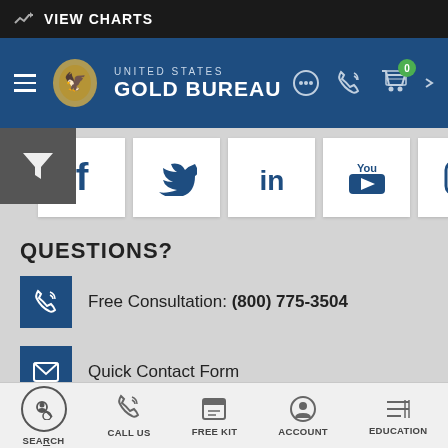VIEW CHARTS
[Figure (screenshot): United States Gold Bureau navigation header with logo, hamburger menu, chat icon, phone icon, and shopping cart with 0 badge]
[Figure (infographic): Social media icons row: Facebook, Twitter, LinkedIn, YouTube, Instagram]
QUESTIONS?
Free Consultation: (800) 775-3504
Quick Contact Form
Live Chat
SEARCH | CALL US | FREE KIT | ACCOUNT | EDUCATION